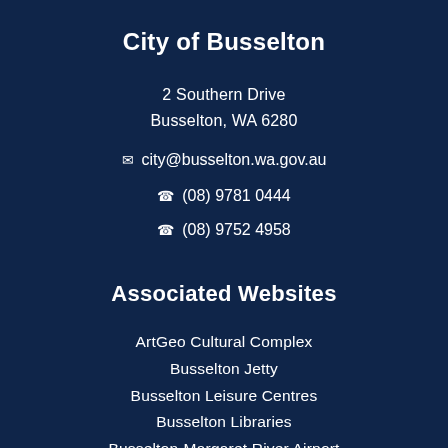City of Busselton
2 Southern Drive
Busselton, WA 6280
✉  city@busselton.wa.gov.au
☎  (08) 9781 0444
☎  (08) 9752 4958
Associated Websites
ArtGeo Cultural Complex
Busselton Jetty
Busselton Leisure Centres
Busselton Libraries
Busselton-Margaret River Airport
Margaret River Region
Sugito Sister City
Your Say Busselton